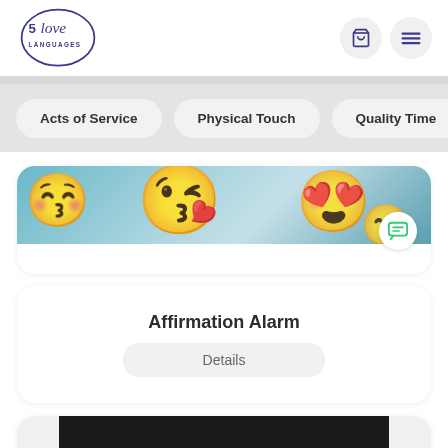5 Love Languages
Acts of Service
Physical Touch
Quality Time
[Figure (photo): Emoji faces on a blue background with a chat icon overlay]
Affirmation Alarm
Details
[Figure (photo): Chalkboard with handwritten text: 'plans I have for you declares the Lord']